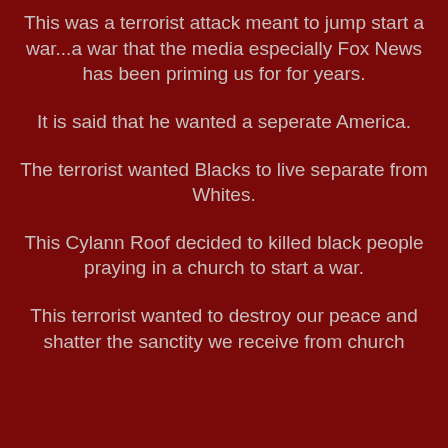This was a terrorist attack meant to jump start a war...a war that the media especially Fox News has been priming us for for years.
It is said that he wanted a seperate America.
The terrorist wanted Blacks to live separate from Whites.
This Cylann Roof decided to killed black people praying in a church to start a war.
This terrorist wanted to destroy our peace and shatter the sanctity we receive from church